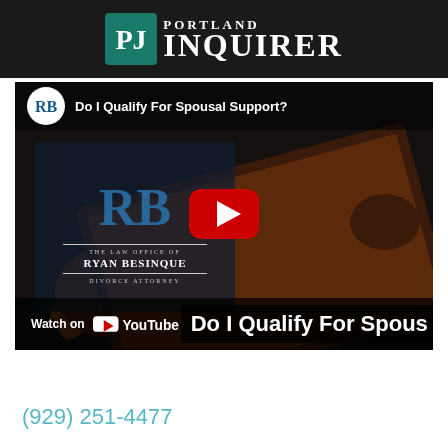Portland Inquirer
[Figure (screenshot): YouTube video thumbnail for 'Do I Qualify For Spousal Support?' by Ryan Besinque Law Office, showing a judge's gavel and legal books with a YouTube play button overlay and 'Watch on YouTube' bar at the bottom.]
(929) 251-4477